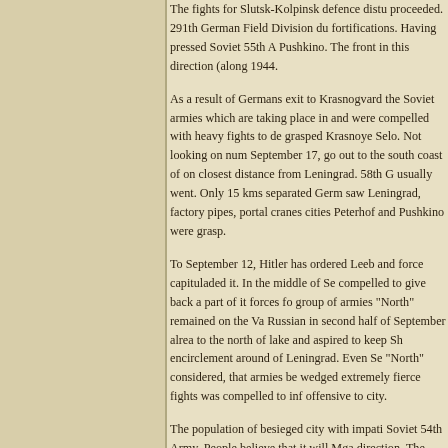The fights for Slutsk-Kolpinsk defence district proceeded. 291th German Field Division du fortifications. Having pressed Soviet 55th A Pushkino. The front in this direction (along 1944.
As a result of Germans exit to Krasnogvard the Soviet armies which are taking place in and were compelled with heavy fights to de grasped Krasnoye Selo. Not looking on num September 17, go out to the south coast of on closest distance from Leningrad. 58th G usually went. Only 15 kms separated Germ saw Leningrad, factory pipes, portal cranes cities Peterhof and Pushkino were grasp.
To September 12, Hitler has ordered Leeb and force capituladed it. In the middle of Se compelled to give back a part of it forces fo group of armies "North" remained on the Va Russian in second half of September alrea to the north of lake and aspired to keep Sh encirclement around of Leningrad. Even Se "North" considered, that armies be wedged extremely fierce fights was compelled to inf offensive to city.
The population of besieged city with impati Soviet 54th Army. People believe that it will Mga direction. The time went but all remain Conditions required speed in actions of 54t